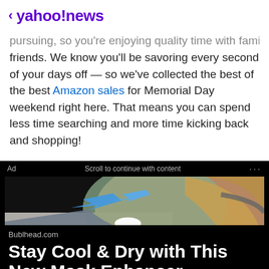< yahoo!news
pursuing, so you're enjoying quality time with family and friends. We know you'll be savoring every second of your days off — so we've collected the best of the best Amazon sales for Memorial Day weekend right here. That means you can spend less time searching and more time kicking back and shopping!
[Figure (photo): Advertisement banner with black background showing 'Scroll to continue with content'. Below is a photo of a woman wearing a face mask with blue arrows indicating airflow near the mouth area. The ad is from Bublhead.com with headline 'Stay Cool & Dry with This New Mask Enhancer'.]
Bublhead.com
Stay Cool & Dry with This New Mask Enhancer